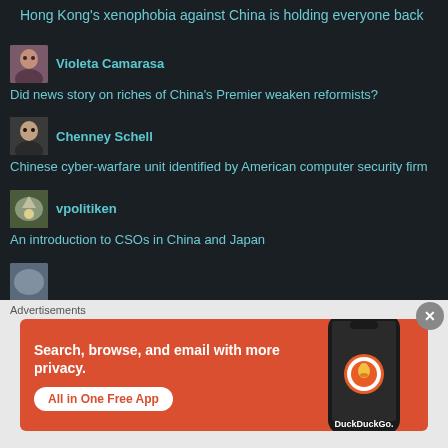Hong Kong's xenophobia against China is holding everyone back
Violeta Camarasa — Did news story on riches of China's Premier weaken reformists?
Chenney Schell — Chinese cyber-warfare unit identified by American computer security firm
vpolitiken — An introduction to CSOs in China and Japan
[Figure (screenshot): DuckDuckGo advertisement banner: orange background with phone mockup, text 'Search, browse, and email with more privacy. All in One Free App' with DuckDuckGo logo]
Advertisements